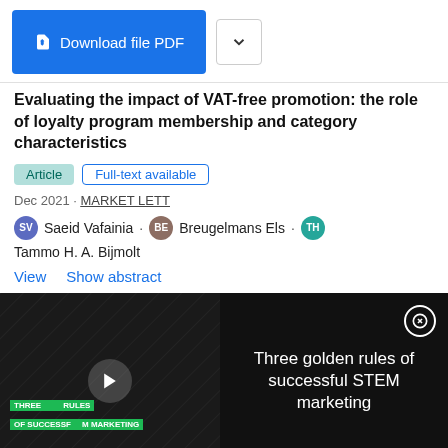[Figure (screenshot): Download file PDF button (blue) and dropdown chevron button]
Evaluating the impact of VAT-free promotion: the role of loyalty program membership and category characteristics
Article · Full-text available
Dec 2021 · MARKET LETT
Saeid Vafainia · Breugelmans Els · Tammo H. A. Bijmolt
View   Show abstract
[Figure (screenshot): Video advertisement overlay on dark background showing 'Three golden rules of successful STEM marketing' with play button and green text overlay on left side]
[Figure (screenshot): ThermoFisher Scientific advertisement banner: Bringing Chemistry to Life Podcast series Season 3 with Listen now button]